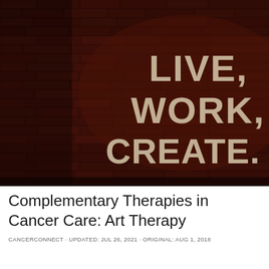[Figure (photo): Dark red brick wall with stenciled text reading LIVE, WORK, CREATE. in large cream/off-white letters]
Complementary Therapies in Cancer Care: Art Therapy
CANCERCONNECT · UPDATED: JUL 26, 2021 · ORIGINAL: AUG 1, 2018